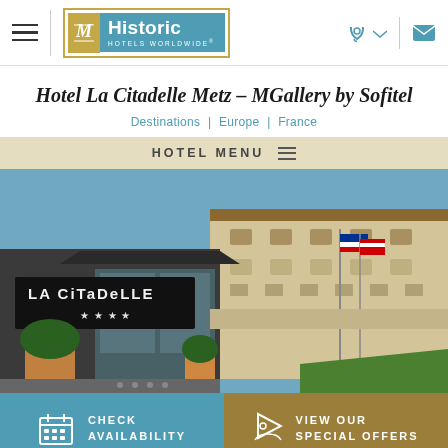Historic Hotels Worldwide — navigation header with hamburger menu, logo, phone and mail icons
Hotel La Citadelle Metz – MGallery by Sofitel
Destinations | Europe | France
HOTEL MENU
[Figure (photo): Exterior photo of La Citadelle hotel building showing entrance signage 'LA CITADELLE' with flags and stone facade under blue sky]
CHECK AVAILABILITY
VIEW OUR SPECIAL OFFERS